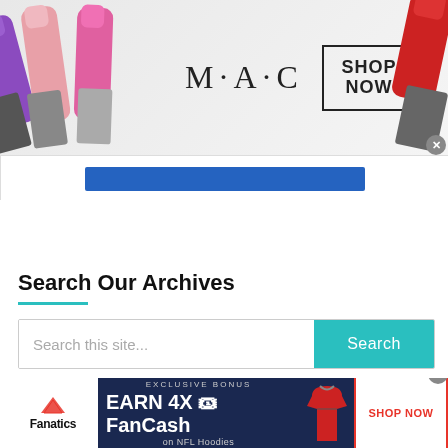[Figure (screenshot): MAC cosmetics advertisement banner showing colorful lipsticks on the left and right, the MAC logo in the center, and a 'SHOP NOW' box with border. A close (X) button is visible at the right side.]
[Figure (screenshot): Partial UI element showing a blue button/bar below the MAC ad banner, with white bordered container.]
Search Our Archives
[Figure (screenshot): Search bar with placeholder text 'Search this site...' and a teal 'Search' button on the right.]
[Figure (screenshot): Fanatics advertisement banner showing the Fanatics logo, 'EXCLUSIVE BONUS EARN 4X FanCash on NFL Hoodies' text on dark navy background, a football hoodie image, and a red-bordered 'SHOP NOW' button. A close (X) button is visible.]